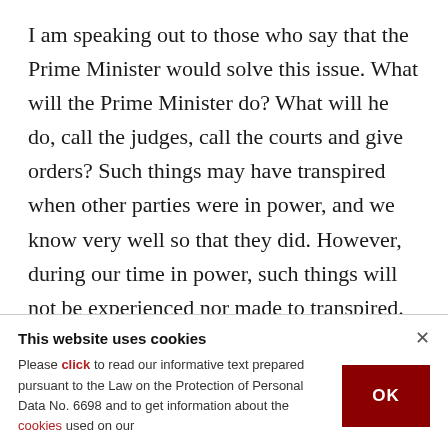I am speaking out to those who say that the Prime Minister would solve this issue. What will the Prime Minister do? What will he do, call the judges, call the courts and give orders? Such things may have transpired when other parties were in power, and we know very well so that they did. However, during our time in power, such things will not be experienced nor made to transpired. Those who refuse to come to Turkey's Grand National Assembly to be tried individually, will
This website uses cookies
Please click to read our informative text prepared pursuant to the Law on the Protection of Personal Data No. 6698 and to get information about the cookies used on our